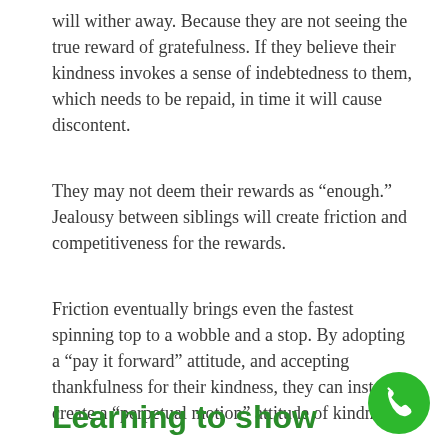will wither away. Because they are not seeing the true reward of gratefulness. If they believe their kindness invokes a sense of indebtedness to them, which needs to be repaid, in time it will cause discontent.
They may not deem their rewards as “enough.” Jealousy between siblings will create friction and competitiveness for the rewards.
Friction eventually brings even the fastest spinning top to a wobble and a stop. By adopting a “pay it forward” attitude, and accepting thankfulness for their kindness, they can instead create a “perpetual motion” attitude of kindness.
Learning to show
[Figure (other): Green circular phone/call button icon in bottom-right corner]